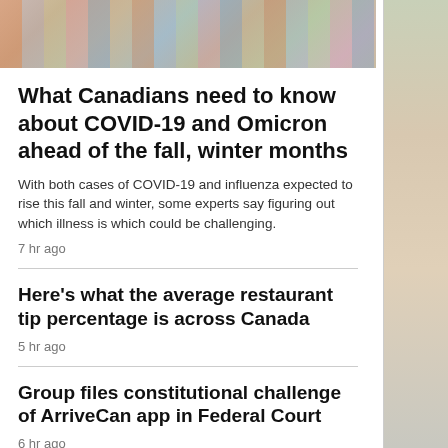[Figure (photo): Photo strip at top showing people walking, partially cropped; a vertical photo strip on the right side of the page showing people outdoors.]
What Canadians need to know about COVID-19 and Omicron ahead of the fall, winter months
With both cases of COVID-19 and influenza expected to rise this fall and winter, some experts say figuring out which illness is which could be challenging.
7 hr ago
Here's what the average restaurant tip percentage is across Canada
5 hr ago
Group files constitutional challenge of ArriveCan app in Federal Court
6 hr ago